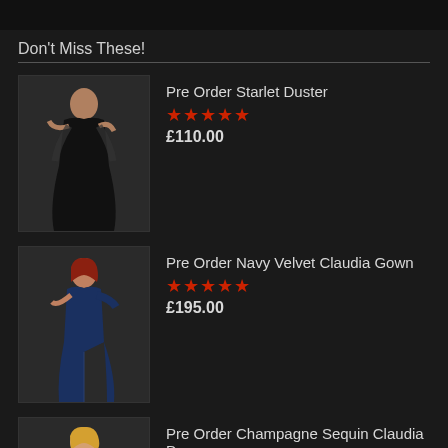Don't Miss These!
Pre Order Starlet Duster, ★★★★★, £110.00
Pre Order Navy Velvet Claudia Gown, ★★★★★, £195.00
Pre Order Champagne Sequin Claudia Dress, £175.00